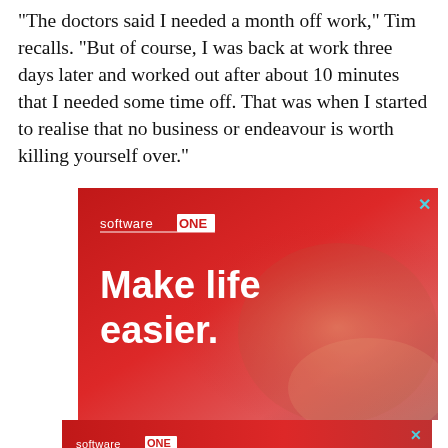“The doctors said I needed a month off work,” Tim recalls. “But of course, I was back at work three days later and worked out after about 10 minutes that I needed some time off. That was when I started to realise that no business or endeavour is worth killing yourself over.”
[Figure (infographic): SoftwareONE advertisement banner with red gradient background, logo reading 'softwareONE' with ONE in a white box, and bold white text reading 'Make life easier.' with a close (X) button in cyan at top right. Background shows blurred hands holding a smartphone with digital interface overlays.]
[Figure (infographic): SoftwareONE smaller banner ad with red background, logo reading 'softwareONE' with ONE in white box, bold white text 'Your IT Partner.' and a cyan X close button at top right.]